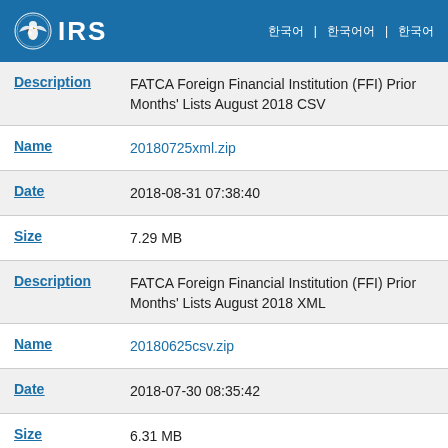IRS
| Field | Value |
| --- | --- |
| Description | FATCA Foreign Financial Institution (FFI) Prior Months' Lists August 2018 CSV |
| Name | 20180725xml.zip |
| Date | 2018-08-31 07:38:40 |
| Size | 7.29 MB |
| Description | FATCA Foreign Financial Institution (FFI) Prior Months' Lists August 2018 XML |
| Name | 20180625csv.zip |
| Date | 2018-07-30 08:35:42 |
| Size | 6.31 MB |